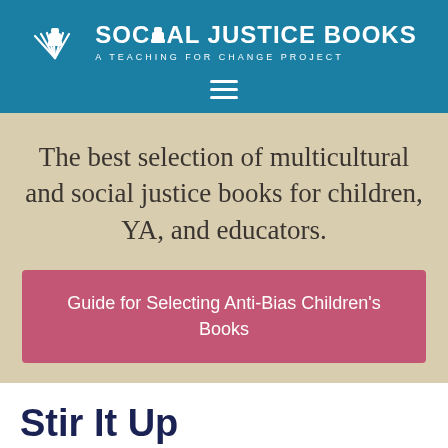[Figure (logo): Social Justice Books logo with open book icon and raised fist, white text on teal/blue background. Main text: SOCIAL JUSTICE BOOKS. Subtitle: A TEACHING FOR CHANGE PROJECT.]
The best selection of multicultural and social justice books for children, YA, and educators.
Guide for Selecting Anti-Bias Children's Books
Stir It Up
9780787965334